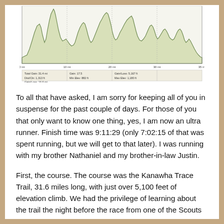[Figure (continuous-plot): Elevation profile chart for the Kanawha Trace Trail ultramarathon course showing multiple peaks and valleys over approximately 31.6 miles. The chart has a greenish-beige filled area plot with jagged elevation changes. Below the chart is a summary statistics table with fields like Total Gain, Gain/Loss, Dist/Los, and various numeric values.]
To all that have asked, I am sorry for keeping all of you in suspense for the past couple of days. For those of you that only want to know one thing, yes, I am now an ultra runner. Finish time was 9:11:29 (only 7:02:15 of that was spent running, but we will get to that later). I was running with my brother Nathaniel and my brother-in-law Justin.
First, the course. The course was the Kanawha Trace Trail, 31.6 miles long, with just over 5,100 feet of elevation climb. We had the privilege of learning about the trail the night before the race from one of the Scouts who designed and built it when he was 17. He advised us that his two